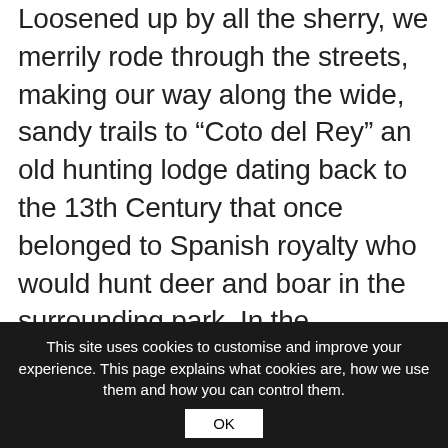Loosened up by all the sherry, we merrily rode through the streets, making our way along the wide, sandy trails to “Coto del Rey” an old hunting lodge dating back to the 13th Century that once belonged to Spanish royalty who would hunt deer and boar in the surrounding park.  In the countryside overlooking the lodge we enjoyed a typical Spanish lunch of chickpea stew served with chorizo, pork and lots of rioja wine.  We then  rode on for another hour or so to the lorries that were waiting to take our tired horses back home.

All the riders were tired too,  but after the
This site uses cookies to customise and improve your experience. This page explains what cookies are, how we use them and how you can control them.